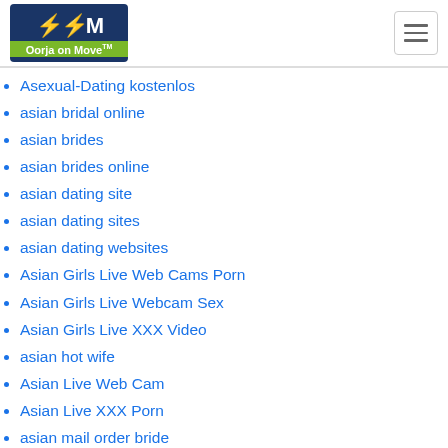Oorja on Move
Asexual-Dating kostenlos
asian bridal online
asian brides
asian brides online
asian dating site
asian dating sites
asian dating websites
Asian Girls Live Web Cams Porn
Asian Girls Live Webcam Sex
Asian Girls Live XXX Video
asian hot wife
Asian Live Web Cam
Asian Live XXX Porn
asian mail order bride
asian mail order brides
asian singles